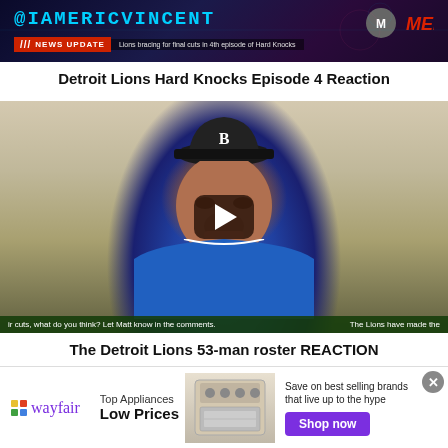[Figure (screenshot): Banner with @IAMERICVINCENT handle in cyan text on dark background with news update bar reading 'Lions bracing for final cuts in 4th episode of Hard Knocks' and MEDIA logo on right]
Detroit Lions Hard Knocks Episode 4 Reaction
[Figure (screenshot): Video thumbnail showing a man in a Detroit Lions jersey and black cap with eyes closed, a play button overlay in center, and caption bar at bottom reading 'ir cuts, what do you think? Let Matt know in the comments.' and 'The Lions have made the']
The Detroit Lions 53-man roster REACTION
[Figure (screenshot): Wayfair advertisement banner with Wayfair logo, 'Top Appliances Low Prices' text, appliance image, and 'Save on best selling brands that live up to the hype' with purple 'Shop now' button]